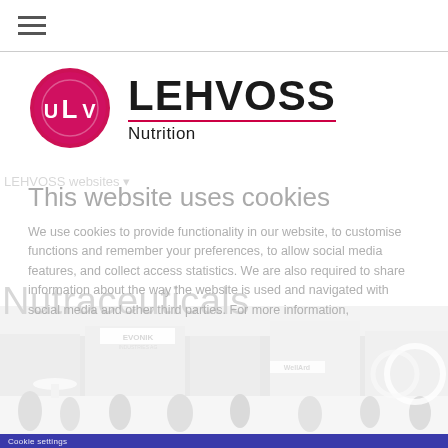[Figure (logo): LEHVOSS Nutrition logo with LUV circle emblem in crimson/pink and company name]
This website uses cookies
LEHVOSS websites
We use cookies to provide functionality in our website, to customise functions and remember your preferences, to allow social media features, and collect access statistics. We are also required to share information about the way the website is used and navigated with social media and other third parties. For more information,
Nutraceuticals
[Figure (photo): Black and white photo of a trade show floor with booths including Evonik, WellArd, and other exhibitors with visitors walking around]
Cookie settings